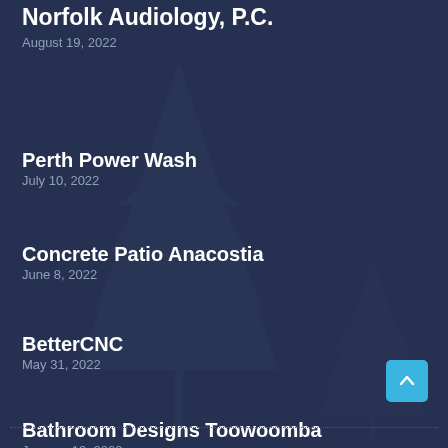Norfolk Audiology, P.C.
August 19, 2022
Perth Power Wash
July 10, 2022
Concrete Patio Anacostia
June 8, 2022
BetterCNC
May 31, 2022
Bathroom Designs Toowoomba
January 12, 2022